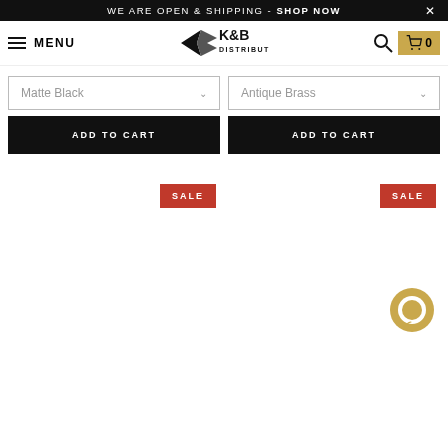WE ARE OPEN & SHIPPING - SHOP NOW ×
MENU | K&B DISTRIBUTORS | 🔍 | 🛒 0
Matte Black ∨
Antique Brass ∨
ADD TO CART
ADD TO CART
SALE
SALE
[Figure (illustration): Gold circular chat bubble widget icon in the bottom right]